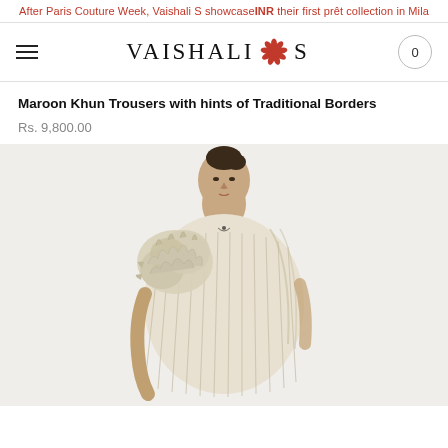After Paris Couture Week, Vaishali S showcased their first prêt collection in Milan
[Figure (logo): Vaishali S brand logo with decorative red flower icon between text]
Maroon Khun Trousers with hints of Traditional Borders
Rs. 9,800.00
[Figure (photo): A model wearing a cream/ivory structured pleated outfit with textured floral embellishments, photographed against a light background]